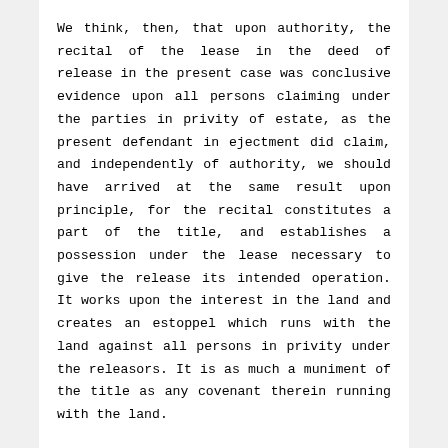We think, then, that upon authority, the recital of the lease in the deed of release in the present case was conclusive evidence upon all persons claiming under the parties in privity of estate, as the present defendant in ejectment did claim, and independently of authority, we should have arrived at the same result upon principle, for the recital constitutes a part of the title, and establishes a possession under the lease necessary to give the release its intended operation. It works upon the interest in the land and creates an estoppel which runs with the land against all persons in privity under the releasors. It is as much a muniment of the title as any covenant therein running with the land.
This view of the matter dispenses with the necessity of examining all the other exceptions as to the nature and sufficiency of the proof of the original existence and loss of the lease, and of the secondary evidence to supply its